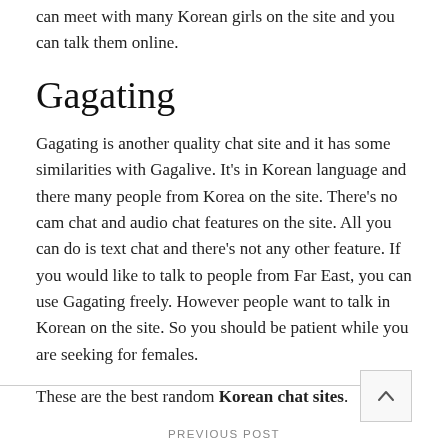can meet with many Korean girls on the site and you can talk them online.
Gagating
Gagating is another quality chat site and it has some similarities with Gagalive. It's in Korean language and there many people from Korea on the site. There's no cam chat and audio chat features on the site. All you can do is text chat and there's not any other feature. If you would like to talk to people from Far East, you can use Gagating freely. However people want to talk in Korean on the site. So you should be patient while you are seeking for females.
These are the best random Korean chat sites.
PREVIOUS POST